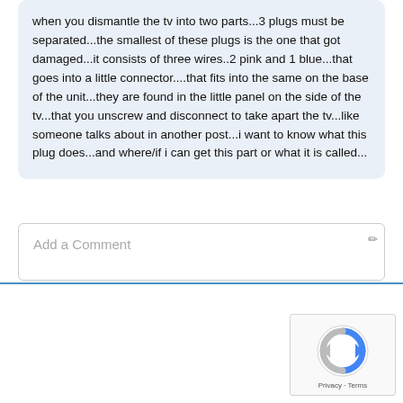when you dismantle the tv into two parts...3 plugs must be separated...the smallest of these plugs is the one that got damaged...it consists of three wires..2 pink and 1 blue...that goes into a little connector....that fits into the same on the base of the unit...they are found in the little panel on the side of the tv...that you unscrew and disconnect to take apart the tv...like someone talks about in another post...i want to know what this plug does...and where/if i can get this part or what it is called...
Add a Comment
[Figure (logo): reCAPTCHA logo with Privacy and Terms text]